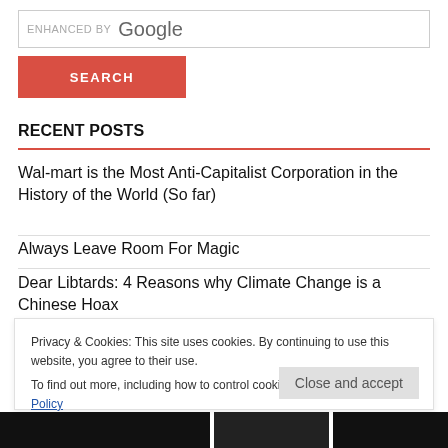[Figure (screenshot): Google search box with 'ENHANCED BY Google' text]
[Figure (screenshot): Red SEARCH button]
RECENT POSTS
Wal-mart is the Most Anti-Capitalist Corporation in the History of the World (So far)
Always Leave Room For Magic
Dear Libtards: 4 Reasons why Climate Change is a Chinese Hoax
How SEO for Google Came To Be Omninotent & All Powerful
Privacy & Cookies: This site uses cookies. By continuing to use this website, you agree to their use.
To find out more, including how to control cookies, see here: Cookie Policy
Close and accept